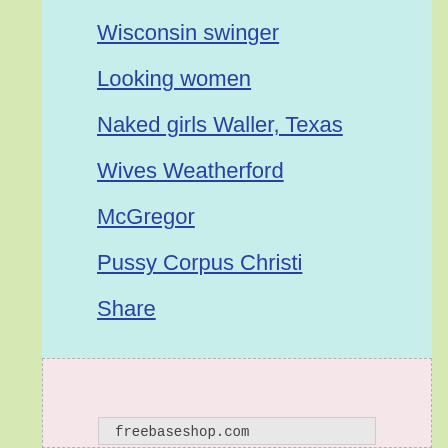Wisconsin swinger
Looking women
Naked girls Waller, Texas
Wives Weatherford
McGregor
Pussy Corpus Christi
Share
[Figure (screenshot): Bottom section with freebaseshop.com watermark and partial image of two people]